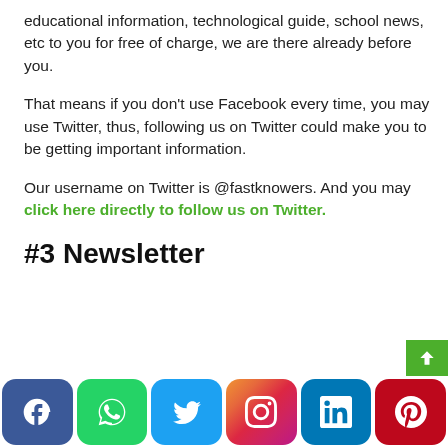educational information, technological guide, school news, etc to you for free of charge, we are there already before you.
That means if you don't use Facebook every time, you may use Twitter, thus, following us on Twitter could make you to be getting important information.
Our username on Twitter is @fastknowers. And you may click here directly to follow us on Twitter.
#3 Newsletter